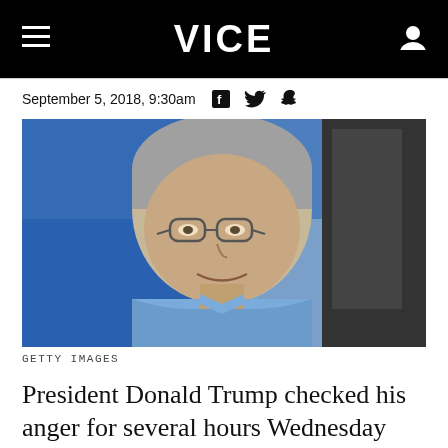VICE
September 5, 2018, 9:30am
[Figure (photo): Photo of an older man with grey hair and glasses wearing a blue dress shirt, seated indoors with a blurred background showing people and blue decor.]
GETTY IMAGES
President Donald Trump checked his anger for several hours Wednesday before exploding on